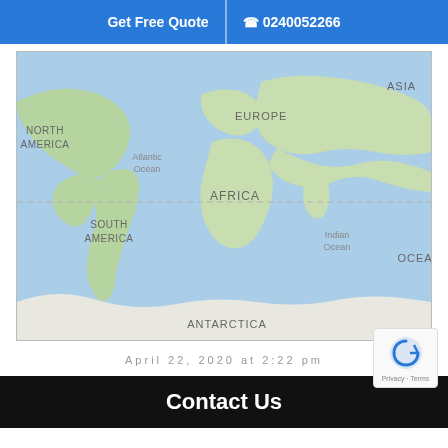Get Free Quote  |  0240052266
[Figure (map): World map showing continents: North America, South America, Europe, Africa, Asia, Antarctica; oceans: Atlantic Ocean, Indian Ocean, OCEA (partial). A dashed horizontal line crosses the map. The map uses Google Maps style with blue ocean and green/beige land.]
April 22, 2020 at 2:22 pm
Contact Us